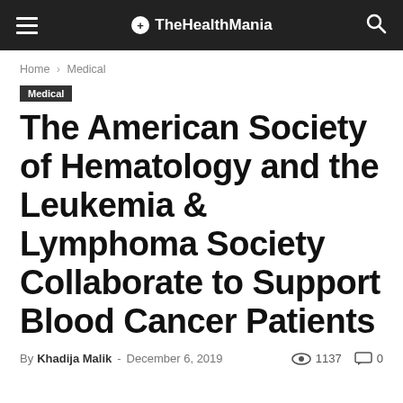TheHealthMania
Home › Medical
Medical
The American Society of Hematology and the Leukemia & Lymphoma Society Collaborate to Support Blood Cancer Patients
By Khadija Malik - December 6, 2019  👁 1137  💬 0